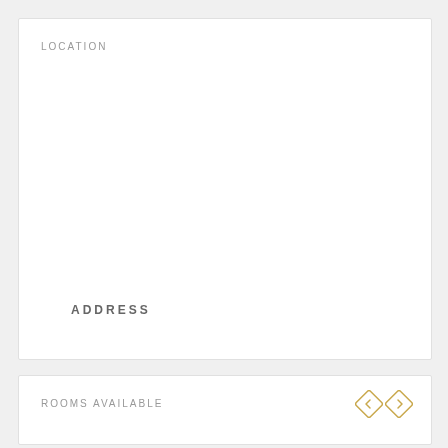LOCATION
ADDRESS
ROOMS AVAILABLE